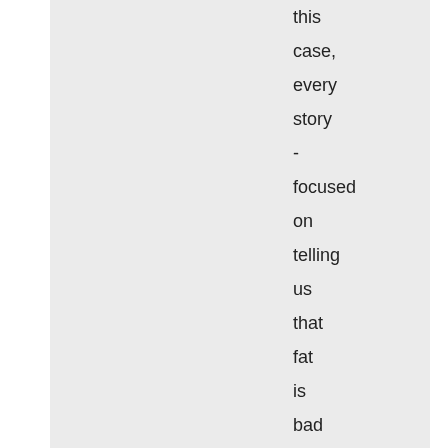this case, every story - focused on telling us that fat is bad and how to lose fat fast and how we shouldn't want to be fat and fat isn't pretty and